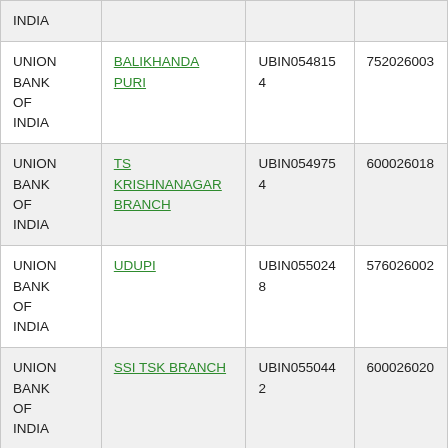| Bank | Branch | IFSC | MICR |
| --- | --- | --- | --- |
| UNION BANK OF INDIA |  |  |  |
| UNION BANK OF INDIA | BALIKHANDA PURI | UBIN0548154 | 752026003 |
| UNION BANK OF INDIA | TS KRISHNANAGAR BRANCH | UBIN0549754 | 600026018 |
| UNION BANK OF INDIA | UDUPI | UBIN0550248 | 576026002 |
| UNION BANK OF INDIA | SSI TSK BRANCH | UBIN0550442 | 600026020 |